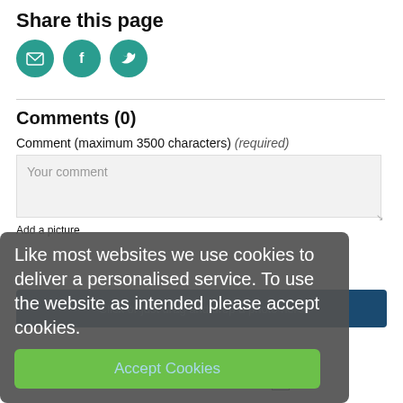Share this page
[Figure (infographic): Three teal circular social sharing icons: email (envelope), Facebook (f), Twitter (bird)]
Comments (0)
Comment (maximum 3500 characters) (required)
Your comment
Add a picture
Like most websites we use cookies to deliver a personalised service. To use the website as intended please accept cookies.
Click or just drag and drop a photo here
Accept Cookies
Notify me when someone makes a comment